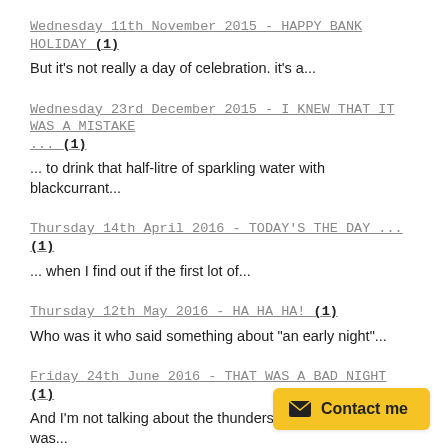Wednesday 11th November 2015 - HAPPY BANK HOLIDAY (1)
But it's not really a day of celebration. it's a...
Wednesday 23rd December 2015 - I KNEW THAT IT WAS A MISTAKE ... (1)
... to drink that half-litre of sparkling water with blackcurrant...
Thursday 14th April 2016 - TODAY'S THE DAY ... (1)
... when I find out if the first lot of...
Thursday 12th May 2016 - HA HA HA! (1)
Who was it who said something about "an early night"...
Friday 24th June 2016 - THAT WAS A BAD NIGHT (1)
And I'm not talking about the thunderstorm either, which was...